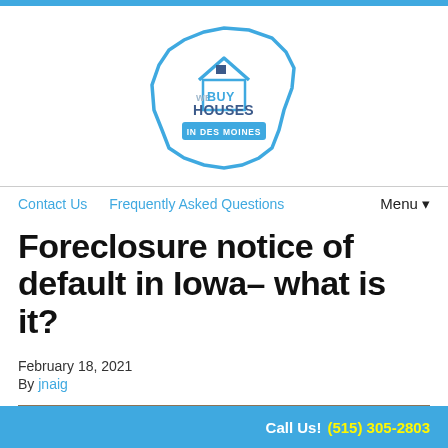[Figure (logo): We Buy Houses In Des Moines logo — house shape outline in blue with text WE BUY HOUSES IN DES MOINES]
Contact Us   Frequently Asked Questions   Menu▼
Foreclosure notice of default in Iowa– what is it?
February 18, 2021
By jnaig
[Figure (photo): Photo of a miniature house model on a desk with documents]
Call Us! (515) 305-2803